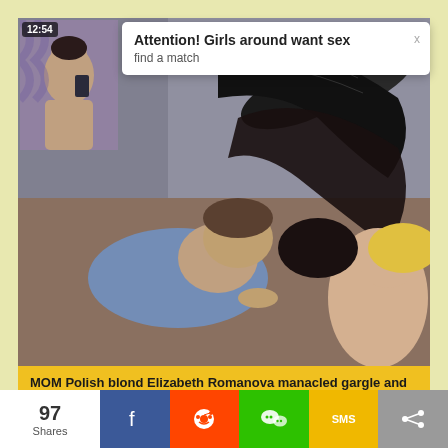[Figure (screenshot): Video thumbnail showing two people in an intimate scene with dark/brown tones]
[Figure (screenshot): Small notification popup thumbnail with timer showing 12:54]
Attention! Girls around want sex
find a match
MOM Polish blond Elizabeth Romanova manacled gargle and ...
[Figure (screenshot): Second video thumbnail partial view at bottom]
97 Shares